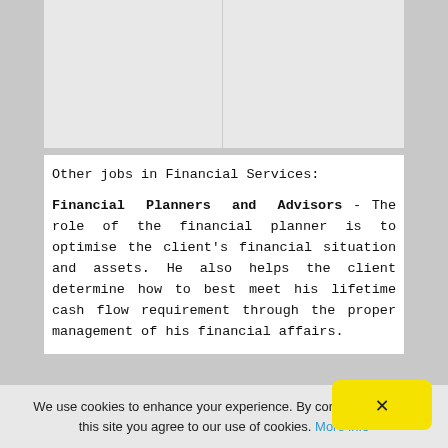[Figure (photo): Two image placeholders side by side (light gray boxes), representing job-related photos in a financial services context.]
Other jobs in Financial Services:
Financial Planners and Advisors - The role of the financial planner is to optimise the client's financial situation and assets. He also helps the client determine how to best meet his lifetime cash flow requirement through the proper management of his financial affairs.
We use cookies to enhance your experience. By continuing to visit this site you agree to our use of cookies. More info